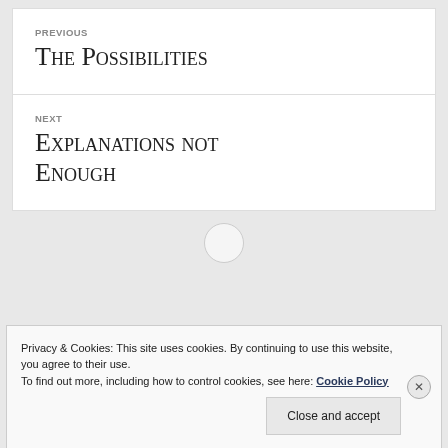PREVIOUS
The Possibilities
NEXT
Explanations not Enough
Privacy & Cookies: This site uses cookies. By continuing to use this website, you agree to their use.
To find out more, including how to control cookies, see here: Cookie Policy
Close and accept